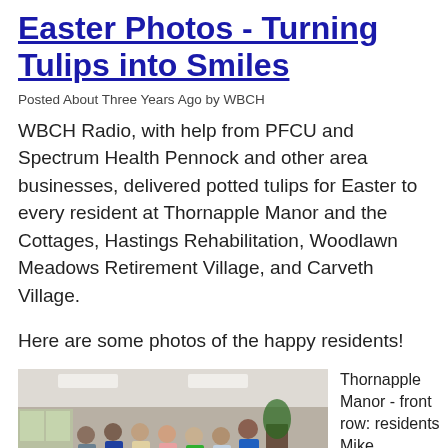Easter Photos - Turning Tulips into Smiles
Posted About Three Years Ago by WBCH
WBCH Radio, with help from PFCU and Spectrum Health Pennock and other area businesses, delivered potted tulips for Easter to every resident at Thornapple Manor and the Cottages, Hastings Rehabilitation, Woodlawn Meadows Retirement Village, and Carveth Village.
Here are some photos of the happy residents!
[Figure (photo): Group photo of residents and staff inside Thornapple Manor lobby area]
Thornapple Manor - front row: residents Mike